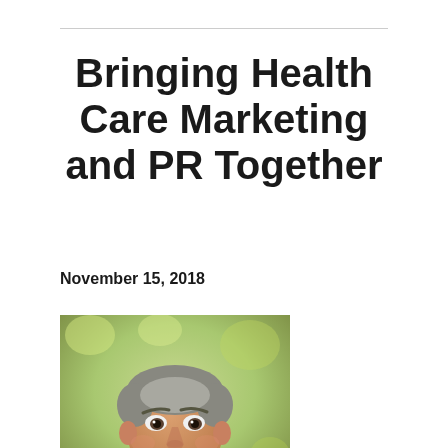Bringing Health Care Marketing and PR Together
November 15, 2018
More and more, health care marketing and PR are coming together with a common goal
[Figure (photo): Professional headshot of a smiling middle-aged man in a suit jacket, with a blurred green outdoor background]